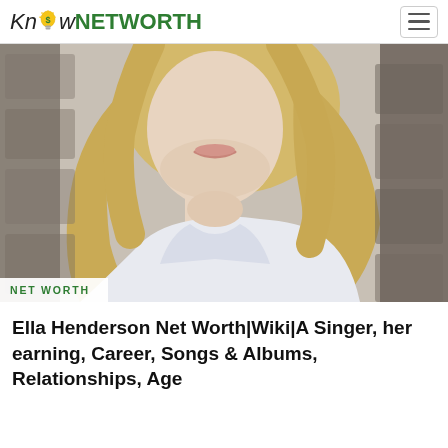Know NETWORTH
[Figure (photo): Blonde woman in white top with head tilted back, leaning against stone wall. NET WORTH tag overlaid at bottom left of image.]
NET WORTH
Ella Henderson Net Worth|Wiki|A Singer, her earning, Career, Songs & Albums, Relationships, Age